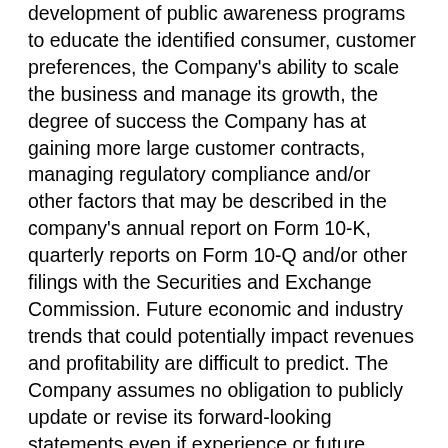development of public awareness programs to educate the identified consumer, customer preferences, the Company's ability to scale the business and manage its growth, the degree of success the Company has at gaining more large customer contracts, managing regulatory compliance and/or other factors that may be described in the company's annual report on Form 10-K, quarterly reports on Form 10-Q and/or other filings with the Securities and Exchange Commission. Future economic and industry trends that could potentially impact revenues and profitability are difficult to predict. The Company assumes no obligation to publicly update or revise its forward-looking statements even if experience or future changes make it clear that any projected results express or implied therein will not be realized.
This release contains certain financial information not derived in accordance with generally accepted accounting principles ("GAAP"), including customer billings information. The Company believes this information is